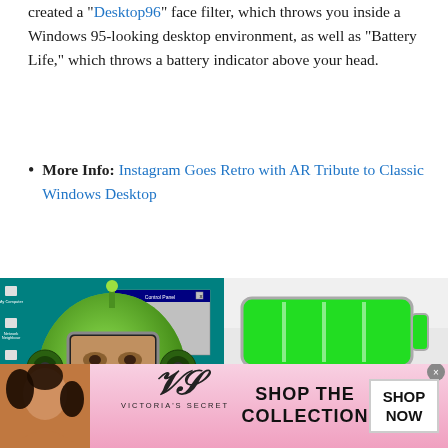created a "Desktop96" face filter, which throws you inside a Windows 95-looking desktop environment, as well as "Battery Life," which throws a battery indicator above your head.
More Info: Instagram Goes Retro with AR Tribute to Classic Windows Desktop
[Figure (photo): Two side-by-side screenshots of Instagram AR face filters. Left: a person's face shown inside a green robot-like Windows 95 desktop AR filter with taskbar and icons visible. Right: a bald person with a large green battery indicator AR overlay above their head.]
[Figure (advertisement): Victoria's Secret advertisement banner with model, VS logo, 'SHOP THE COLLECTION' text, and 'SHOP NOW' button.]